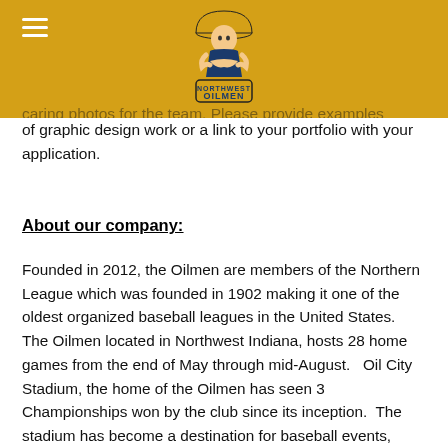Oilmen logo and navigation header
of graphic design work or a link to your portfolio with your application.
About our company:
Founded in 2012, the Oilmen are members of the Northern League which was founded in 1902 making it one of the oldest organized baseball leagues in the United States.   The Oilmen located in Northwest Indiana, hosts 28 home games from the end of May through mid-August.   Oil City Stadium, the home of the Oilmen has seen 3 Championships won by the club since its inception.  The stadium has become a destination for baseball events, holding a total of 120 Live Events a year.   Touting a successful internship program, the Oilmen have seen hundreds